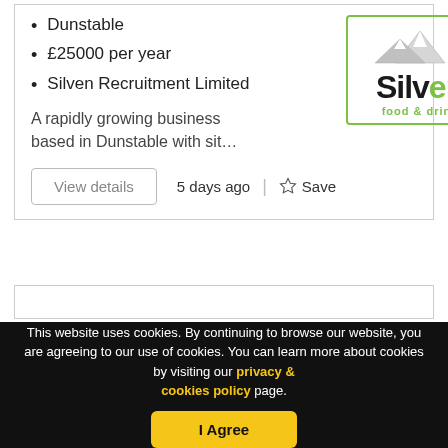Dunstable
£25000 per year
Silven Recruitment Limited
A rapidly growing business based in Dunstable with sit…
[Figure (logo): Silven food & drink company logo with green mountain graphic and green border]
View details
5 days ago
Save
This website uses cookies. By continuing to browse our website, you are agreeing to our use of cookies. You can learn more about cookies by visiting our privacy & cookies policy page.
I Agree